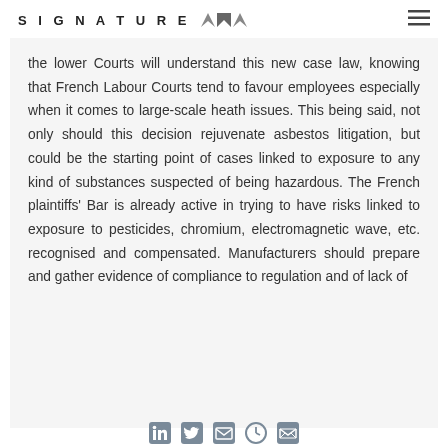SIGNATURE
the lower Courts will understand this new case law, knowing that French Labour Courts tend to favour employees especially when it comes to large-scale heath issues. This being said, not only should this decision rejuvenate asbestos litigation, but could be the starting point of cases linked to exposure to any kind of substances suspected of being hazardous. The French plaintiffs' Bar is already active in trying to have risks linked to exposure to pesticides, chromium, electromagnetic wave, etc. recognised and compensated. Manufacturers should prepare and gather evidence of compliance to regulation and of lack of